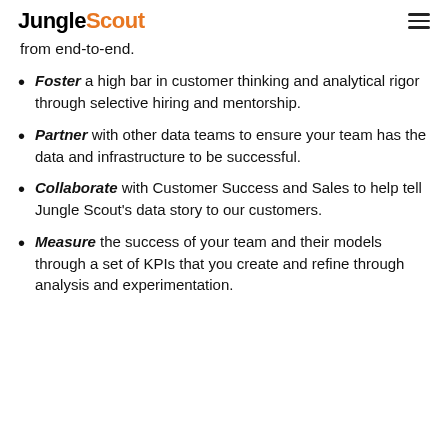JungleScout
from end-to-end.
Foster a high bar in customer thinking and analytical rigor through selective hiring and mentorship.
Partner with other data teams to ensure your team has the data and infrastructure to be successful.
Collaborate with Customer Success and Sales to help tell Jungle Scout's data story to our customers.
Measure the success of your team and their models through a set of KPIs that you create and refine through analysis and experimentation.